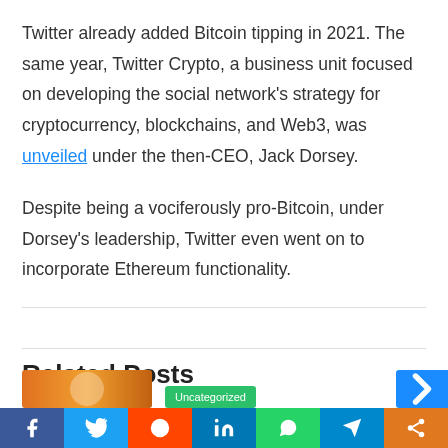Twitter already added Bitcoin tipping in 2021. The same year, Twitter Crypto, a business unit focused on developing the social network's strategy for cryptocurrency, blockchains, and Web3, was unveiled under the then-CEO, Jack Dorsey.
Despite being a vociferously pro-Bitcoin, under Dorsey's leadership, Twitter even went on to incorporate Ethereum functionality.
Related Posts
Social share bar: Facebook, Twitter, Reddit, LinkedIn, WhatsApp, Telegram, Share